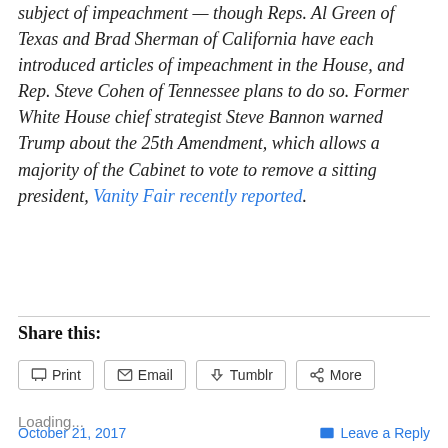subject of impeachment — though Reps. Al Green of Texas and Brad Sherman of California have each introduced articles of impeachment in the House, and Rep. Steve Cohen of Tennessee plans to do so. Former White House chief strategist Steve Bannon warned Trump about the 25th Amendment, which allows a majority of the Cabinet to vote to remove a sitting president, Vanity Fair recently reported.
Share this:
Print | Email | Tumblr | More
Loading...
October 21, 2017 | Leave a Reply